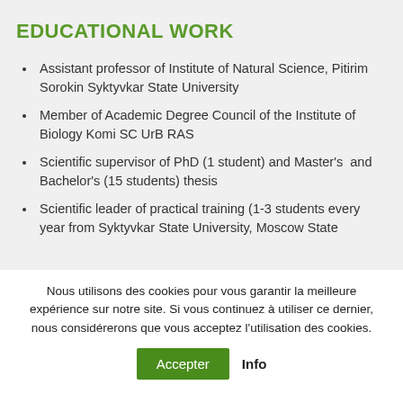EDUCATIONAL WORK
Assistant professor of Institute of Natural Science, Pitirim Sorokin Syktyvkar State University
Member of Academic Degree Council of the Institute of Biology Komi SC UrB RAS
Scientific supervisor of PhD (1 student) and Master's  and Bachelor's (15 students) thesis
Scientific leader of practical training (1-3 students every year from Syktyvkar State University, Moscow State
Nous utilisons des cookies pour vous garantir la meilleure expérience sur notre site. Si vous continuez à utiliser ce dernier, nous considérerons que vous acceptez l'utilisation des cookies.
Accepter  Info